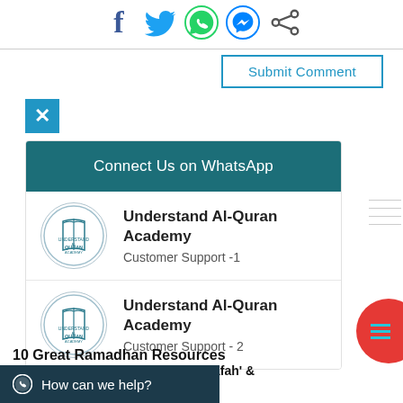[Figure (infographic): Social media share icons: Facebook, Twitter, WhatsApp, Messenger, Share]
[Figure (screenshot): Submit Comment button with blue border]
[Figure (infographic): Blue X close button]
Connect Us on WhatsApp
[Figure (logo): Understand Al-Quran Academy circular logo 1]
Understand Al-Quran Academy
Customer Support -1
[Figure (logo): Understand Al-Quran Academy circular logo 2]
Understand Al-Quran Academy
Customer Support - 2
10 Great Ramadhan Resources
10 Tips & Tools for The Day of 'Arafah' &
How can we help?